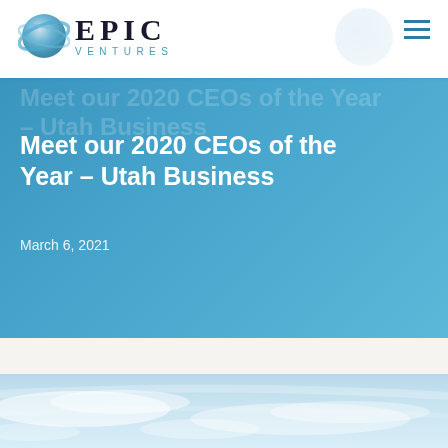EPIC VENTURES
Meet our 2020 CEOs of the Year – Utah Business
March 6, 2021
[Figure (photo): Sky with clouds, light blue tones, bottom strip image]